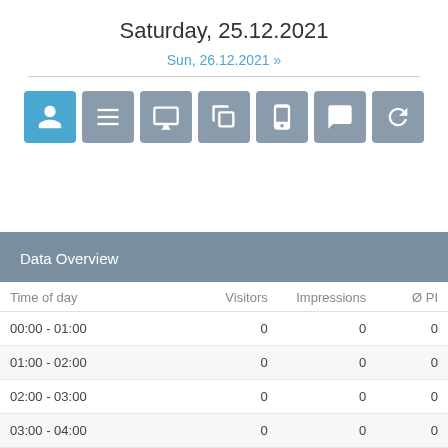Saturday, 25.12.2021
Sun, 26.12.2021 »
[Figure (infographic): Row of 7 icon buttons: person (active/blue), list, monitor, duplicate, smartphone, speech bubble, refresh arrows (all grey)]
| Time of day | Visitors | Impressions | Ø PI |
| --- | --- | --- | --- |
| 00:00 - 01:00 | 0 | 0 | 0 |
| 01:00 - 02:00 | 0 | 0 | 0 |
| 02:00 - 03:00 | 0 | 0 | 0 |
| 03:00 - 04:00 | 0 | 0 | 0 |
| 04:00 - 05:00 | 0 | 0 | 0 |
| 05:00 - 06:00 | 0 | 0 | 0 |